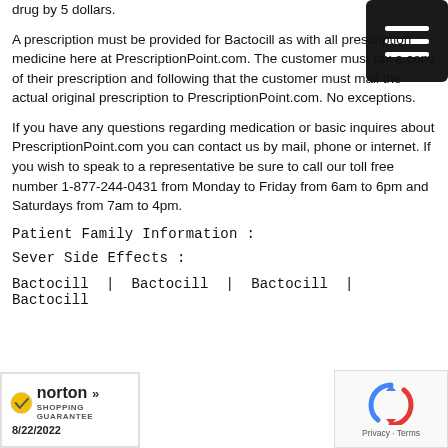drug by 5 dollars.
A prescription must be provided for Bactocill as with all prescription medicine here at PrescriptionPoint.com. The customer must fax a copy of their prescription and following that the customer must mail the actual original prescription to PrescriptionPoint.com. No exceptions.
If you have any questions regarding medication or basic inquires about PrescriptionPoint.com you can contact us by mail, phone or internet. If you wish to speak to a representative be sure to call our toll free number 1-877-244-0431 from Monday to Friday from 6am to 6pm and Saturdays from 7am to 4pm.
Patient Family Information :
Sever Side Effects :
Bactocill | Bactocill | Bactocill | Bactocill
[Figure (logo): Norton Shopping Guarantee badge with checkmark, dated 8/22/2022]
[Figure (logo): reCAPTCHA badge with Privacy and Terms links]